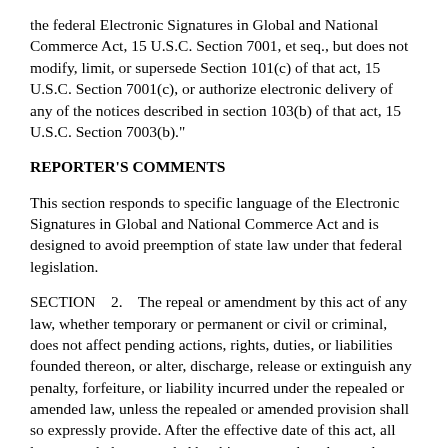the federal Electronic Signatures in Global and National Commerce Act, 15 U.S.C. Section 7001, et seq., but does not modify, limit, or supersede Section 101(c) of that act, 15 U.S.C. Section 7001(c), or authorize electronic delivery of any of the notices described in section 103(b) of that act, 15 U.S.C. Section 7003(b)."
REPORTER'S COMMENTS
This section responds to specific language of the Electronic Signatures in Global and National Commerce Act and is designed to avoid preemption of state law under that federal legislation.
SECTION    2.    The repeal or amendment by this act of any law, whether temporary or permanent or civil or criminal, does not affect pending actions, rights, duties, or liabilities founded thereon, or alter, discharge, release or extinguish any penalty, forfeiture, or liability incurred under the repealed or amended law, unless the repealed or amended provision shall so expressly provide. After the effective date of this act, all laws repealed or amended by this act must be taken and treated as remaining in full force and effect for the purpose of sustaining any pending or vested right, civil action, special proceeding, criminal prosecution, or appeal existing as of the effective date of this act, and for the enforcement of rights, duties, penalties, forfeitures, and liabilities as they stood under the